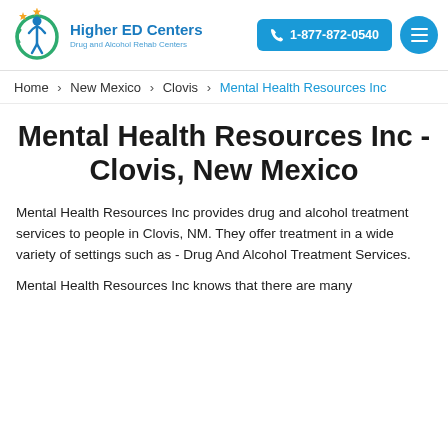[Figure (logo): Higher ED Centers logo with stylized figure and circular design, Drug and Alcohol Rehab Centers]
Higher ED Centers Drug and Alcohol Rehab Centers | 1-877-872-0540
Home > New Mexico > Clovis > Mental Health Resources Inc
Mental Health Resources Inc - Clovis, New Mexico
Mental Health Resources Inc provides drug and alcohol treatment services to people in Clovis, NM. They offer treatment in a wide variety of settings such as - Drug And Alcohol Treatment Services.
Mental Health Resources Inc knows that there are many